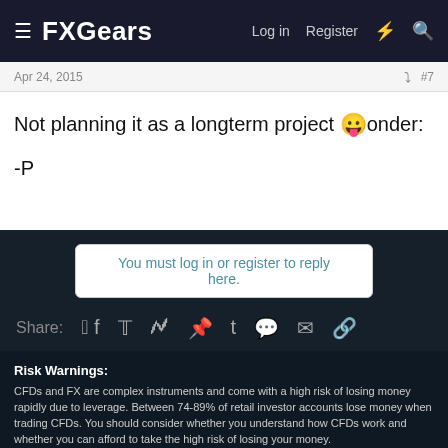FXGears  Log in  Register
Apr 24, 2015  #7
Not planning it as a longterm project 😛onder:

-P
You must log in or register to reply here.
Share:
Trading Journals
Risk Warnings:
CFDs and FX are complex instruments and come with a high risk of losing money rapidly due to leverage. Between 74-89% of retail investor accounts lose money when trading CFDs. You should consider whether you understand how CFDs work and whether you can afford to take the high risk of losing your money.